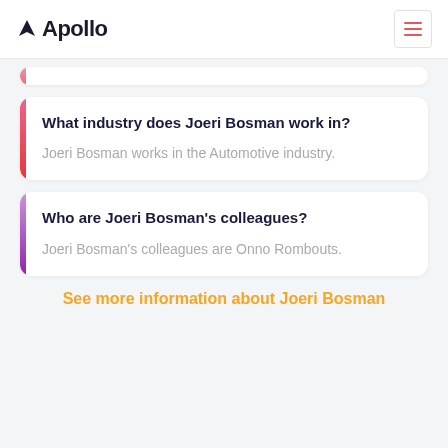Apollo
What industry does Joeri Bosman work in?
Joeri Bosman works in the Automotive industry.
Who are Joeri Bosman's colleagues?
Joeri Bosman's colleagues are Onno Rombouts.
See more information about Joeri Bosman